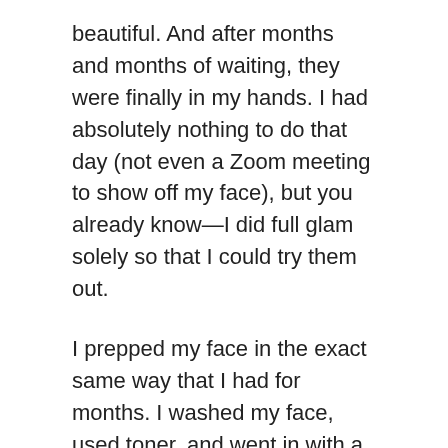beautiful. And after months and months of waiting, they were finally in my hands. I had absolutely nothing to do that day (not even a Zoom meeting to show off my face), but you already know—I did full glam solely so that I could try them out.
I prepped my face in the exact same way that I had for months. I washed my face, used toner, and went in with a vitamin C serum and a moisturizer. I prepped with a primer and then used my usual foundation. All was well in paradise, so I reached for my brand-spanking-new and long-awaited products.
Up first was the contour wand. I applied it the same way that Madison did: a stroke underneath